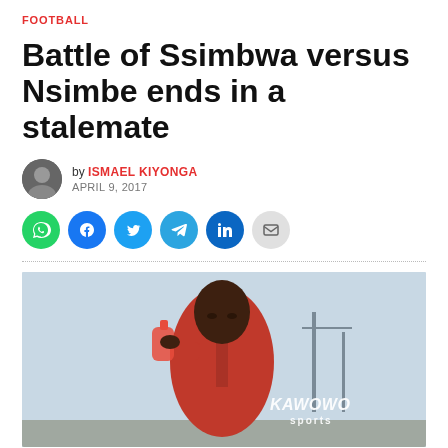FOOTBALL
Battle of Ssimbwa versus Nsimbe ends in a stalemate
by ISMAEL KIYONGA
APRIL 9, 2017
[Figure (other): Social sharing buttons: WhatsApp (green), Facebook (blue), Twitter (light blue), Telegram (blue), LinkedIn (dark blue), Email (grey)]
[Figure (photo): A man in a red jacket drinking from a bottle, photographed outdoors. Kawowo Sports watermark visible in the bottom right.]